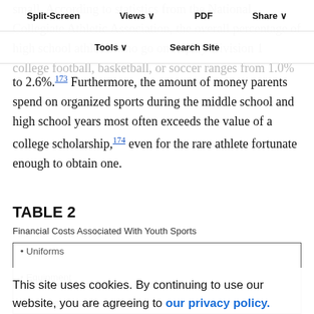Split-Screen | Views | PDF | Share | Tools | Search Site
small. According to statistics from the National Collegiate Athletic Association, the overall percentage of high school athletes who go on to play Division 1 college football, basketball, or soccer ranges from 1.0% to 2.6%.173 Furthermore, the amount of money parents spend on organized sports during the middle school and high school years most often exceeds the value of a college scholarship,174 even for the rare athlete fortunate enough to obtain one.
TABLE 2
Financial Costs Associated With Youth Sports
| • Uniforms |
| • Equipment |
| • Entrances |
This site uses cookies. By continuing to use our website, you are agreeing to our privacy policy. Accept